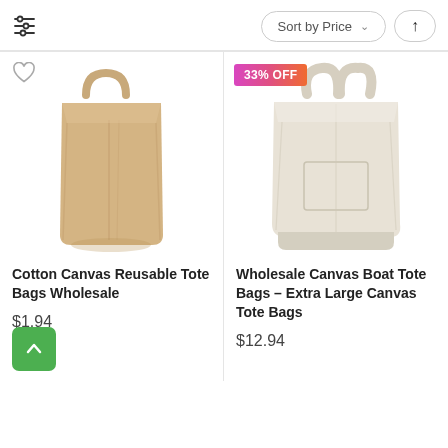Sort by Price ↑
[Figure (photo): Cotton Canvas Reusable Tote Bag - tan/beige color with handles]
Cotton Canvas Reusable Tote Bags Wholesale
$1.94
[Figure (photo): Wholesale Canvas Boat Tote Bag - Extra Large Canvas Tote Bags, light cream/ivory color with front pocket, 33% OFF badge]
Wholesale Canvas Boat Tote Bags - Extra Large Canvas Tote Bags
$12.94